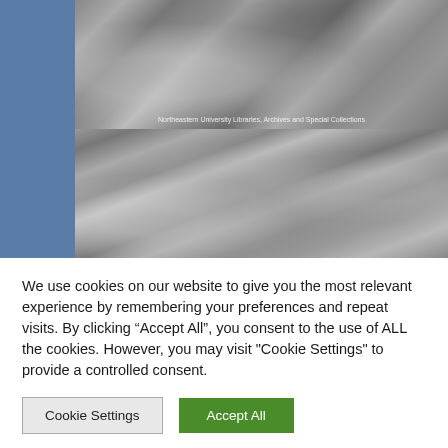[Figure (photo): Two black-and-white photos stacked vertically on a blue background. Top photo shows two people seated, one leaning toward the other with a box/container visible. A caption reads 'Northeastern University Libraries, Archives and Special Collections'. Bottom photo shows a group of approximately 10-12 people posing together in a group shot, also black-and-white.]
We use cookies on our website to give you the most relevant experience by remembering your preferences and repeat visits. By clicking "Accept All", you consent to the use of ALL the cookies. However, you may visit "Cookie Settings" to provide a controlled consent.
Cookie Settings
Accept All